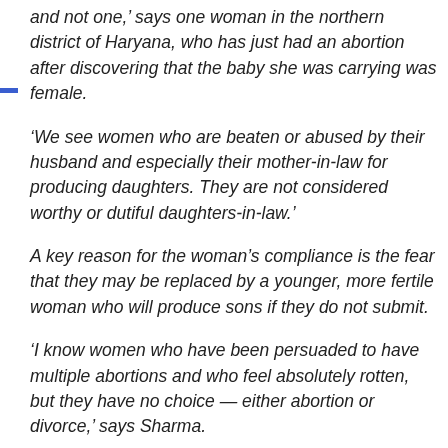and not one,' says one woman in the northern district of Haryana, who has just had an abortion after discovering that the baby she was carrying was female.
'We see women who are beaten or abused by their husband and especially their mother-in-law for producing daughters. They are not considered worthy or dutiful daughters-in-law.'
A key reason for the woman's compliance is the fear that they may be replaced by a younger, more fertile woman who will produce sons if they do not submit.
'I know women who have been persuaded to have multiple abortions and who feel absolutely rotten, but they have no choice — either abortion or divorce,' says Sharma.